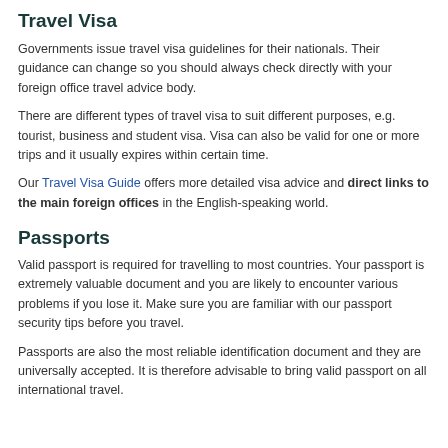Travel Visa
Governments issue travel visa guidelines for their nationals. Their guidance can change so you should always check directly with your foreign office travel advice body.
There are different types of travel visa to suit different purposes, e.g. tourist, business and student visa. Visa can also be valid for one or more trips and it usually expires within certain time.
Our Travel Visa Guide offers more detailed visa advice and direct links to the main foreign offices in the English-speaking world.
Passports
Valid passport is required for travelling to most countries. Your passport is extremely valuable document and you are likely to encounter various problems if you lose it. Make sure you are familiar with our passport security tips before you travel.
Passports are also the most reliable identification document and they are universally accepted. It is therefore advisable to bring valid passport on all international travel.